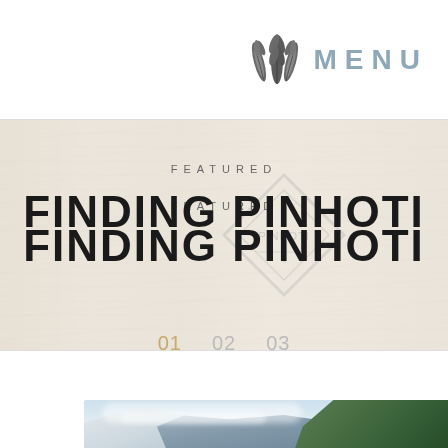MENU
FEATURED
FINDING PINHOTI
01  02  03
[Figure (photo): Mountain landscape with snow-capped peaks, rocky cliffs, and green forest trees with cloudy sky]